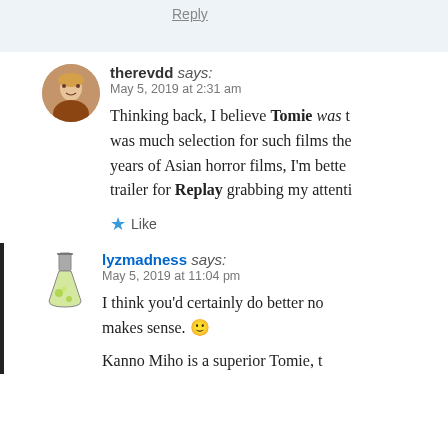Reply
therevdd says:
May 5, 2019 at 2:31 am
Thinking back, I believe Tomie was t... was much selection for such films the... years of Asian horror films, I'm bette... trailer for Replay grabbing my attenti...
Like
lyzmadness says:
May 5, 2019 at 11:04 pm
I think you'd certainly do better no... makes sense. 🙂
Kanno Miho is a superior Tomie...